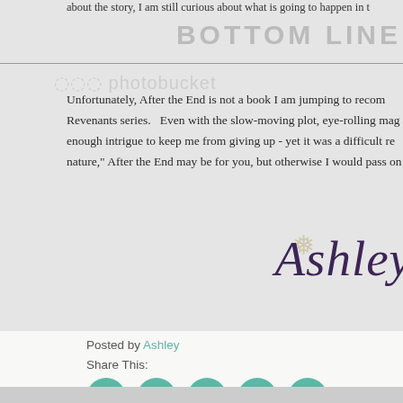about the story, I am still curious about what is going to happen in t...
BOTTOM LINE
Unfortunately, After the End is not a book I am jumping to recom... Revenants series. Even with the slow-moving plot, eye-rolling mag... enough intrigue to keep me from giving up - yet it was a difficult re... nature," After the End may be for you, but otherwise I would pass on
[Figure (illustration): Cursive signature reading 'Ashley' with a decorative snowflake element, in dark purple color]
Posted by Ashley
Share This:
[Figure (infographic): Row of 5 teal circular social media icons: Facebook, Twitter, Google+, Pinterest, Tumblr]
Labels: 2 stars, After the End, Amy Plum, BEA 2014, HarperCollins,